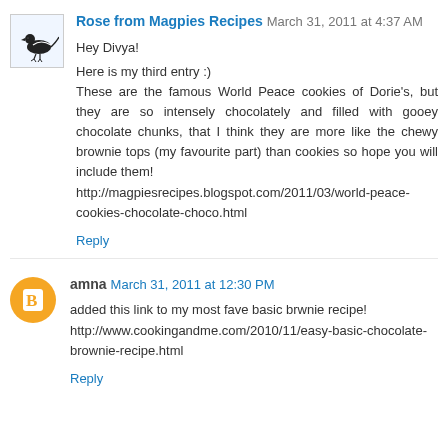Rose from Magpies Recipes March 31, 2011 at 4:37 AM
Hey Divya!

Here is my third entry :)
These are the famous World Peace cookies of Dorie's, but they are so intensely chocolately and filled with gooey chocolate chunks, that I think they are more like the chewy brownie tops (my favourite part) than cookies so hope you will include them!
http://magpiesrecipes.blogspot.com/2011/03/world-peace-cookies-chocolate-choco.html
Reply
amna March 31, 2011 at 12:30 PM
added this link to my most fave basic brwnie recipe!
http://www.cookingandme.com/2010/11/easy-basic-chocolate-brownie-recipe.html
Reply